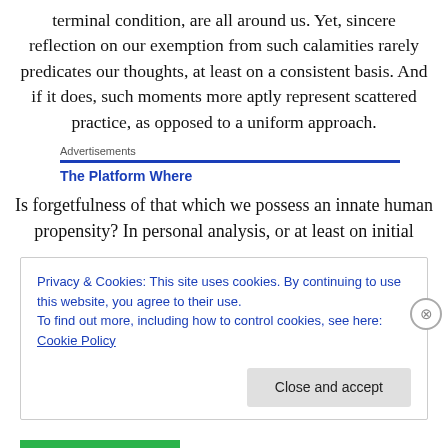terminal condition, are all around us. Yet, sincere reflection on our exemption from such calamities rarely predicates our thoughts, at least on a consistent basis. And if it does, such moments more aptly represent scattered practice, as opposed to a uniform approach.
Advertisements
The Platform Where
Is forgetfulness of that which we possess an innate human propensity? In personal analysis, or at least on initial
Privacy & Cookies: This site uses cookies. By continuing to use this website, you agree to their use.
To find out more, including how to control cookies, see here: Cookie Policy
Close and accept